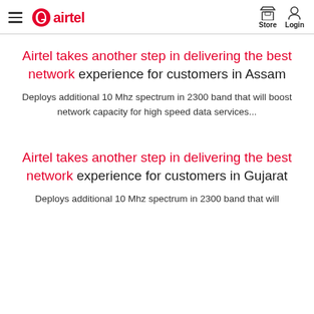airtel — Store | Login
Airtel takes another step in delivering the best network experience for customers in Assam
Deploys additional 10 Mhz spectrum in 2300 band that will boost network capacity for high speed data services...
Airtel takes another step in delivering the best network experience for customers in Gujarat
Deploys additional 10 Mhz spectrum in 2300 band that will